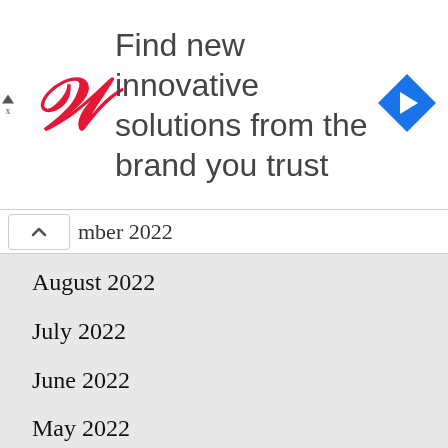[Figure (screenshot): Walgreens advertisement banner with cursive W logo in red, text 'Find new innovative solutions from the brand you trust', and blue diamond navigation arrow icon on the right.]
mber 2022
August 2022
July 2022
June 2022
May 2022
April 2022
March 2022
February 2022
January 2022
December 2021